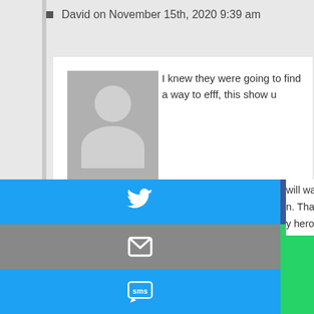David on November 15th, 2020 9:39 am
I knew they were going to find a way to efff, this show u
Daryl on November 15th, 2020 9:53 am
If you are removing her character then damn you need her character!! Her character was one of if not the best
[Figure (screenshot): Social media share buttons grid: Twitter (blue), Facebook (dark blue), Email (grey), WhatsApp (green), SMS (blue), other share (green)]
will watch as long as t
n. Thank you for creati
y hero's.